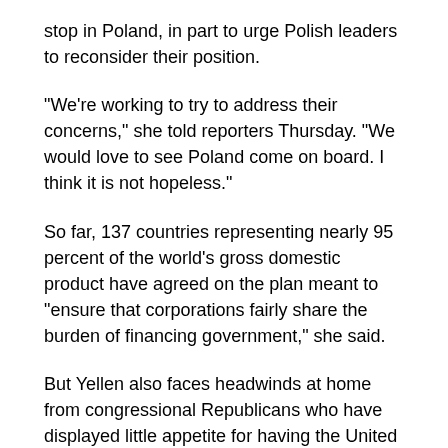stop in Poland, in part to urge Polish leaders to reconsider their position.
“We’re working to try to address their concerns,” she told reporters Thursday. “We would love to see Poland come on board. I think it is not hopeless.”
So far, 137 countries representing nearly 95 percent of the world’s gross domestic product have agreed on the plan meant to “ensure that corporations fairly share the burden of financing government,” she said.
But Yellen also faces headwinds at home from congressional Republicans who have displayed little appetite for having the United States hold up its end of the agreement. They say the plan would make the U.S. less competitive in a global economy.